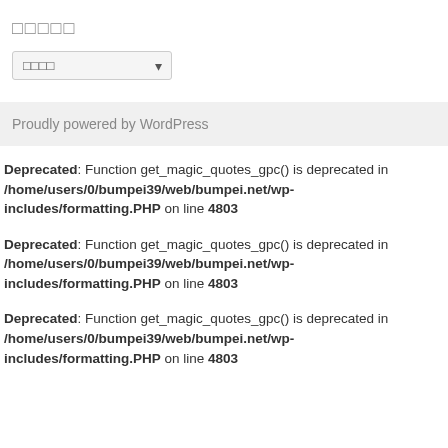□□□□□
□□□□
Proudly powered by WordPress
Deprecated: Function get_magic_quotes_gpc() is deprecated in /home/users/0/bumpei39/web/bumpei.net/wp-includes/formatting.PHP on line 4803
Deprecated: Function get_magic_quotes_gpc() is deprecated in /home/users/0/bumpei39/web/bumpei.net/wp-includes/formatting.PHP on line 4803
Deprecated: Function get_magic_quotes_gpc() is deprecated in /home/users/0/bumpei39/web/bumpei.net/wp-includes/formatting.PHP on line 4803